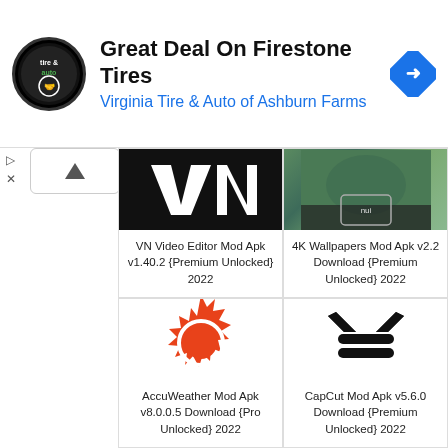[Figure (infographic): Ad banner: Virginia Tire & Auto of Ashburn Farms - Great Deal On Firestone Tires]
Great Deal On Firestone Tires
Virginia Tire & Auto of Ashburn Farms
[Figure (screenshot): VN Video Editor app icon - black background with white VN letters]
VN Video Editor Mod Apk v1.40.2 {Premium Unlocked} 2022
[Figure (screenshot): 4K Wallpapers app icon - nature/butterfly photo]
4K Wallpapers Mod Apk v2.2 Download {Premium Unlocked} 2022
[Figure (illustration): AccuWeather sun icon - orange sun with white circle center]
AccuWeather Mod Apk v8.0.0.5 Download {Pro Unlocked} 2022
[Figure (illustration): CapCut app icon - black X/scissor logo on white background]
CapCut Mod Apk v5.6.0 Download {Premium Unlocked} 2022